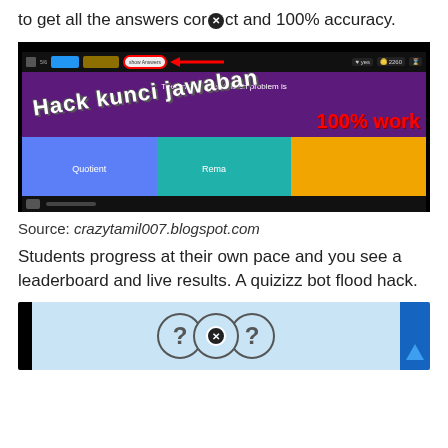to get all the answers correct and 100% accuracy.
[Figure (screenshot): Screenshot of a Quizizz quiz game with overlaid text 'Hack kunci jawaban' and '100% work' in red. Shows quiz interface with purple background, answer tiles (blue, teal, orange), and a red circled button at the top with a red arrow pointing to it.]
Source: crazytamil007.blogspot.com
Students progress at their own pace and you see a leaderboard and live results. A quizizz bot flood hack.
[Figure (screenshot): Bottom portion of a screenshot showing a light blue background with three overlapping circles containing question marks and an X symbol, with a dark left border and a blue arrow/chevron on the right side.]